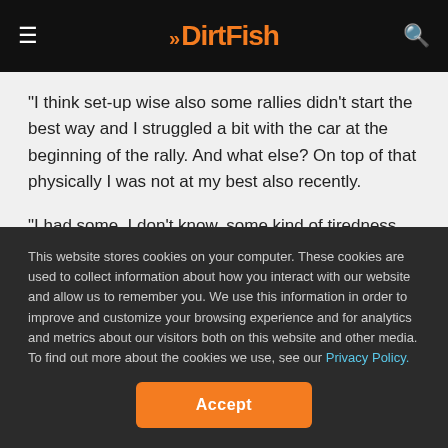DirtFish
“I think set-up wise also some rallies didn’t start the best way and I struggled a bit with the car at the beginning of the rally. And what else? On top of that physically I was not at my best also recently.
“I had some, I don’t know, some kind of tiredness which I couldn’t really understand and actually I quite appreciate the long gap [five weeks as opposed to two weeks between Finland and Spain] between the last two rallies to have the chance to recharge a bit the batteries and come here in a better form.
This website stores cookies on your computer. These cookies are used to collect information about how you interact with our website and allow us to remember you. We use this information in order to improve and customize your browsing experience and for analytics and metrics about our visitors both on this website and other media. To find out more about the cookies we use, see our Privacy Policy.